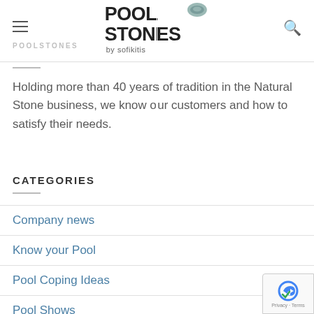POOL STONES by sofikitis — POOLSTONES
Holding more than 40 years of tradition in the Natural Stone business, we know our customers and how to satisfy their needs.
CATEGORIES
Company news
Know your Pool
Pool Coping Ideas
Pool Shows
Projects